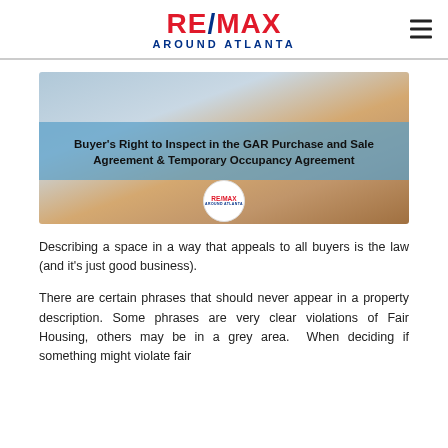RE/MAX AROUND ATLANTA
[Figure (photo): Photo of two people signing documents at a table with cash and keys visible, with a blue overlay banner showing the article title 'Buyer's Right to Inspect in the GAR Purchase and Sale Agreement & Temporary Occupancy Agreement' and a RE/MAX Around Atlanta logo circle]
Describing a space in a way that appeals to all buyers is the law (and it's just good business).
There are certain phrases that should never appear in a property description. Some phrases are very clear violations of Fair Housing, others may be in a grey area. When deciding if something might violate fair